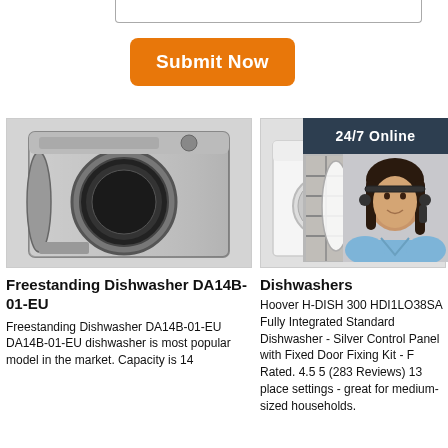[Figure (other): Bottom edge of a textarea input field]
[Figure (other): Orange 'Submit Now' button]
[Figure (photo): Front-loading washing machine with open door, silver]
Freestanding Dishwasher DA14B-01-EU
Freestanding Dishwasher DA14B-01-EU DA14B-01-EU dishwasher is most popular model in the market. Capacity is 14
[Figure (photo): White front-loading washer with colorful laundry basket]
Dishwashers
Hoover H-DISH 300 HDI1LO38SA Fully Integrated Standard Dishwasher - Silver Control Panel with Fixed Door Fixing Kit - F Rated. 4.5 5 (283 Reviews) 13 place settings - great for medium-sized households.
[Figure (photo): Built-in dishwasher rack with dishes]
[Figure (photo): Customer service agent woman with headset]
[Figure (other): 24/7 Online banner - dark blue]
Built-In Dishwa... Dishwa...
[Figure (other): Chat popup: Click here for free chat! QUOTATION button]
... We are firstly established in 2012,which engaged in R&D, manufacturing, and marketing of front load washing machines and dishwashers.And